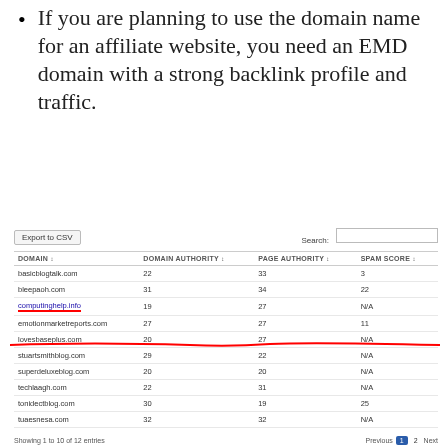If you are planning to use the domain name for an affiliate website, you need an EMD domain with a strong backlink profile and traffic.
[Figure (screenshot): Screenshot of a domain authority table with columns: Domain, Domain Authority, Page Authority, Spam Score. Rows include basicblogtalk.com, bleepaoh.com, computinghelp.info (underlined in red), emotionmarketreports.com, lovesbaseplus.com (with red horizontal line), stuartsmithblog.com, superdeluxeblog.com, techlaagh.com, tonidectblog.com, tuaesnesa.com. Shows pagination 'Showing 1 to 10 of 12 entries' and page controls.]